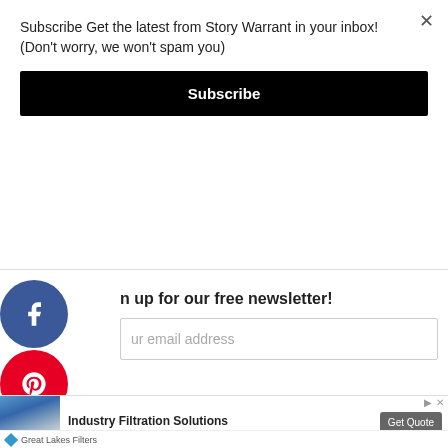Subscribe Get the latest from Story Warrant in your inbox! (Don't worry, we won't spam you)
Subscribe
[Figure (infographic): Facebook circular social share icon (dark blue)]
[Figure (infographic): Pinterest circular social share icon (red)]
[Figure (infographic): Twitter circular social share icon (light blue)]
[Figure (infographic): LinkedIn circular social share icon (blue)]
n up for our free newsletter!
ur email address
[Figure (photo): Industry filtration equipment photo - blue industrial filters]
Industry Filtration Solutions
Get Quote
Great Lakes Filters